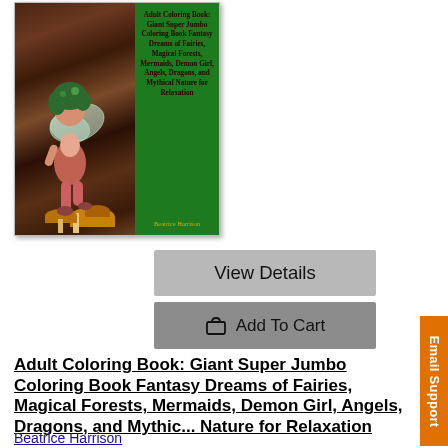[Figure (photo): Book cover for Adult Coloring Book: Giant Super Jumbo Coloring Book Fantasy Dreams of Fairies, Magical Forests, Mermaids, Demon Girl, Angels, Dragons, and Mythical Nature for Relaxation by Beatrice Harrison. Cover shows a fairy figure on the left side with a forest background, and a green panel on the right with the title text.]
View Details
Add To Cart
Adult Coloring Book: Giant Super Jumbo Coloring Book Fantasy Dreams of Fairies, Magical Forests, Mermaids, Demon Girl, Angels, Dragons, and Mythical Nature for Relaxation
Beatrice Harrison